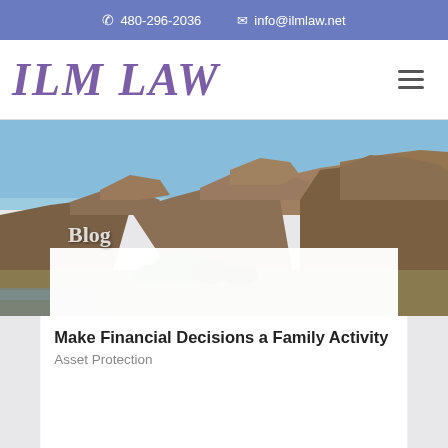480-296-2036  info@ilmlaw.net
ILM LAW
[Figure (photo): Arizona desert landscape with red rock formations, shrubs, and a blue sky. A large white content card overlays the bottom portion. The word 'Blog' appears overlaid on the image.]
Make Financial Decisions a Family Activity
Asset Protection